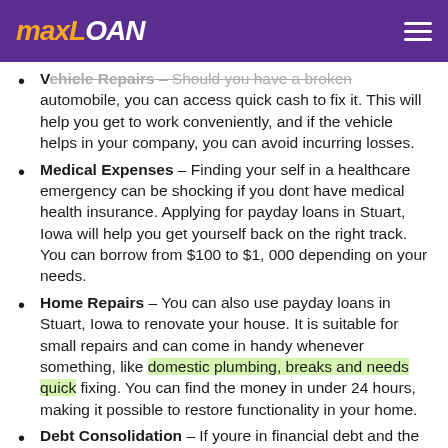MAXLOAN
Vehicle Repairs – Should you have a broken automobile, you can access quick cash to fix it. This will help you get to work conveniently, and if the vehicle helps in your company, you can avoid incurring losses.
Medical Expenses – Finding your self in a healthcare emergency can be shocking if you dont have medical health insurance. Applying for payday loans in Stuart, Iowa will help you get yourself back on the right track. You can borrow from $100 to $1, 000 depending on your needs.
Home Repairs – You can also use payday loans in Stuart, Iowa to renovate your house. It is suitable for small repairs and can come in handy whenever something, like domestic plumbing, breaks and needs quick fixing. You can find the money in under 24 hours, making it possible to restore functionality in your home.
Debt Consolidation – If youre in financial debt and the